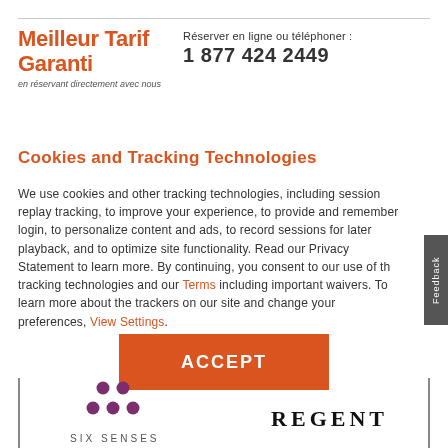Meilleur Tarif Garanti
en réservant directement avec nous
Réserver en ligne ou téléphoner :
1 877 424 2449
Cookies and Tracking Technologies
We use cookies and other tracking technologies, including session replay tracking, to improve your experience, to provide and remember login, to personalize content and ads, to record sessions for later playback, and to optimize site functionality. Read our Privacy Statement to learn more. By continuing, you consent to our use of these tracking technologies and our Terms including important waivers. To learn more about the trackers on our site and change your preferences, View Settings.
[Figure (other): Orange ACCEPT button]
[Figure (logo): Six Senses logo with purple dots and text]
[Figure (logo): REGENT logo in bold serif font]